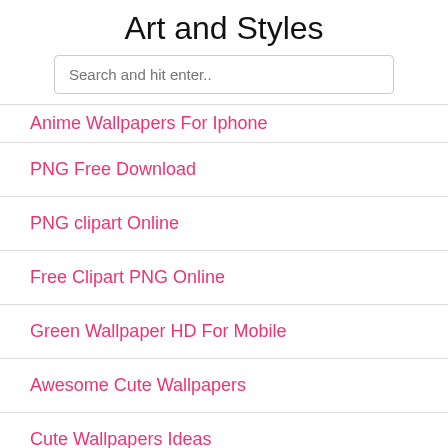Art and Styles
Search and hit enter..
Anime Wallpapers For Iphone
PNG Free Download
PNG clipart Online
Free Clipart PNG Online
Green Wallpaper HD For Mobile
Awesome Cute Wallpapers
Cute Wallpapers Ideas
Cute Wallpapers Hd For Mobile
Wallpaper For Windows
Cute Wallpapers Hd For Desktop